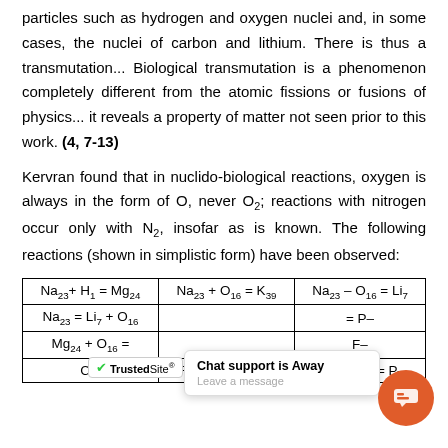particles such as hydrogen and oxygen nuclei and, in some cases, the nuclei of carbon and lithium. There is thus a transmutation... Biological transmutation is a phenomenon completely different from the atomic fissions or fusions of physics... it reveals a property of matter not seen prior to this work. (4, 7-13)
Kervran found that in nuclido-biological reactions, oxygen is always in the form of O, never O2; reactions with nitrogen occur only with N2, insofar as is known. The following reactions (shown in simplistic form) have been observed:
| Na23+ H1 = Mg24 | Na23 + O16 = K39 | Na23 – O16 = Li7 |
| --- | --- | --- |
| Na23 = Li7 + O16 |  | = P– |
| Mg24 + O16 = | Chat support is Away / Leave a message | F– |
| Cl– | Fe– + H– = Mn– | 2O– + H– = P– |